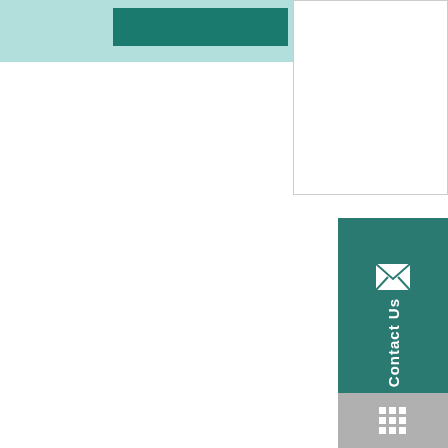[Figure (infographic): Top-left teal/mint colored band with dark teal rectangle overlay, partial UI chrome element]
[Figure (infographic): Right side white bordered box, partial UI element]
[Figure (infographic): Dark teal vertical Contact Us tab with envelope icon and rotated text on right side]
[Figure (infographic): Gray tab at bottom right with grid/phone icon]